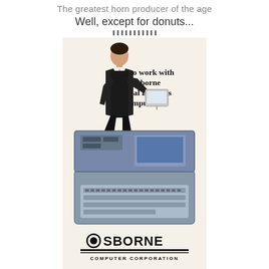The greatest horn producer of the age
Well, except for donuts...
▐▐▐▐▐▐▐▐▐▐▐
[Figure (photo): Vintage Osborne Computer Corporation advertisement showing a businessman in a black suit carrying a portable computer case, stepping over an open Osborne Personal Business Computer. Text reads 'Going to work with an Osborne Personal Business Computer.' The bottom shows the OSBORNE COMPUTER CORPORATION logo with horizontal stripes.]